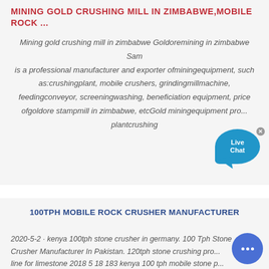MINING GOLD CRUSHING MILL IN ZIMBABWE,MOBILE ROCK ...
Mining gold crushing mill in zimbabwe Goldoremining in zimbabwe Sam is a professional manufacturer and exporter ofminingequipment, such as:crushingplant, mobile crushers, grindingmillmachine, feedingconveyor, screeningwashing, beneficiation equipment, price ofgoldore stampmill in zimbabwe, etcGold miningequipment pro... plantcrushing
100TPH MOBILE ROCK CRUSHER MANUFACTURER
2020-5-2 · kenya 100tph stone crusher in germany. 100 Tph Stone Crusher Manufacturer In Pakistan. 120tph stone crushing pro... line for limestone 2018 5 18 183 kenya 100 tph mobile stone p... line crushing plant in ghana from a portable limestone crushing m...